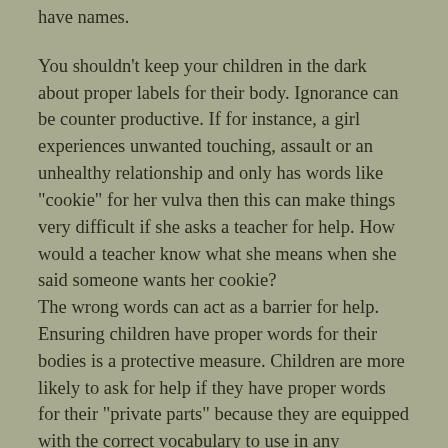have names.
You shouldn’t keep your children in the dark about proper labels for their body. Ignorance can be counter productive. If for instance, a girl experiences unwanted touching, assault or an unhealthy relationship and only has words like “cookie” for her vulva then this can make things very difficult if she asks a teacher for help. How would a teacher know what she means when she said someone wants her cookie?
The wrong words can act as a barrier for help. Ensuring children have proper words for their bodies is a protective measure. Children are more likely to ask for help if they have proper words for their “private parts” because they are equipped with the correct vocabulary to use in any situation.
Make sure you teach your children to use the word